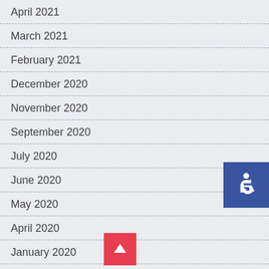April 2021
March 2021
February 2021
December 2020
November 2020
September 2020
July 2020
June 2020
May 2020
April 2020
January 2020
November 2019
[Figure (illustration): Blue accessibility (wheelchair) icon button in upper right corner]
[Figure (illustration): Red scroll-to-top arrow button at bottom center]